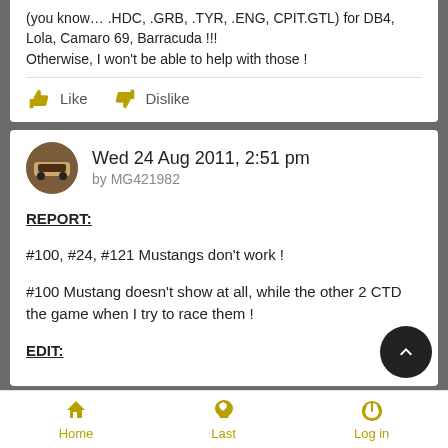(you know… .HDC, .GRB, .TYR, .ENG, CPIT.GTL) for DB4, Lola, Camaro 69, Barracuda !!!
Otherwise, I won't be able to help with those !
Like   Dislike
Wed 24 Aug 2011, 2:51 pm
by MG421982
REPORT:

#100, #24, #121 Mustangs don't work !

#100 Mustang doesn't show at all, while the other 2 CTD the game when I try to race them !

EDIT:
Home   Last   Log in